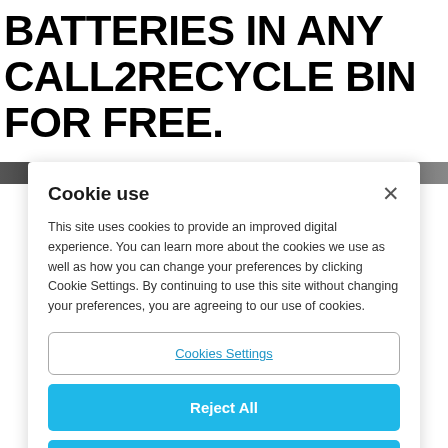BATTERIES IN ANY CALL2RECYCLE BIN FOR FREE.
[Figure (photo): Dark horizontal image strip showing a partial scene, likely a person or object, obscured by the cookie modal overlay.]
Cookie use
This site uses cookies to provide an improved digital experience. You can learn more about the cookies we use as well as how you can change your preferences by clicking Cookie Settings. By continuing to use this site without changing your preferences, you are agreeing to our use of cookies.
Cookies Settings
Reject All
Accept Cookies